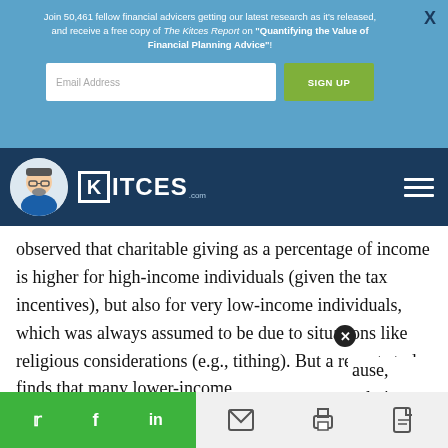Join 50,461 fellow financial advicers getting our latest research as it's released, and receive a free copy of The Kitces Report on "Quantifying the Value of Financial Planning Advice"!
[Figure (logo): Kitces.com logo with avatar and navigation bar on dark blue background]
observed that charitable giving as a percentage of income is higher for high-income individuals (given the tax incentives), but also for very low-income individuals, which was always assumed to be due to situations like religious considerations (e.g., tithing). But a recent study finds that many lower-income [people give] because, relative [to their income, the amounts are sm]aller than [expected a]t
[Figure (infographic): Social share bar with Twitter, Facebook, LinkedIn icons in green, and tools bar with email, print, PDF icons in light gray]